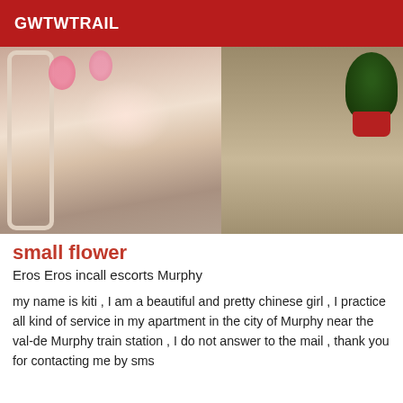GWTWTRAIL
[Figure (photo): A person in a grey knit sweater standing in front of an ornate white mirror frame, with pink balloons in the background and a green plant in a red pot on the right side.]
small flower
Eros Eros incall escorts Murphy
my name is kiti , I am a beautiful and pretty chinese girl , I practice all kind of service in my apartment in the city of Murphy near the val-de Murphy train station , I do not answer to the mail , thank you for contacting me by sms